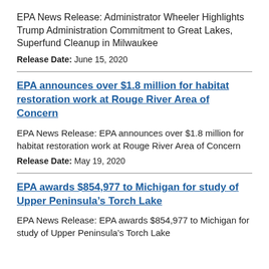EPA News Release: Administrator Wheeler Highlights Trump Administration Commitment to Great Lakes, Superfund Cleanup in Milwaukee
Release Date: June 15, 2020
EPA announces over $1.8 million for habitat restoration work at Rouge River Area of Concern
EPA News Release: EPA announces over $1.8 million for habitat restoration work at Rouge River Area of Concern
Release Date: May 19, 2020
EPA awards $854,977 to Michigan for study of Upper Peninsula’s Torch Lake
EPA News Release: EPA awards $854,977 to Michigan for study of Upper Peninsula’s Torch Lake